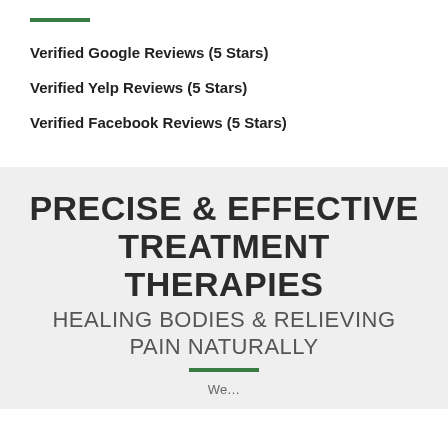Verified Google Reviews (5 Stars)
Verified Yelp Reviews (5 Stars)
Verified Facebook Reviews (5 Stars)
PRECISE & EFFECTIVE TREATMENT THERAPIES
HEALING BODIES & RELIEVING PAIN NATURALLY
We…